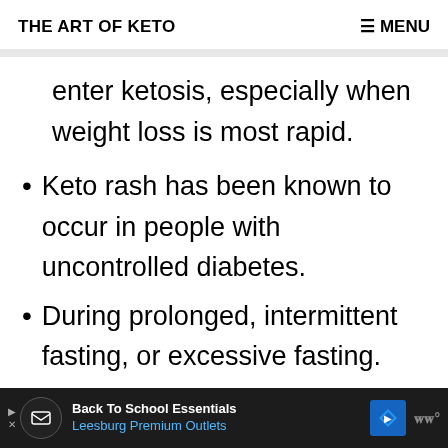THE ART OF KETO    ≡ MENU
enter ketosis, especially when weight loss is most rapid.
Keto rash has been known to occur in people with uncontrolled diabetes.
During prolonged, intermittent fasting, or excessive fasting.
[Figure (other): Advertisement banner: Back To School Essentials - Leesburg Premium Outlets]